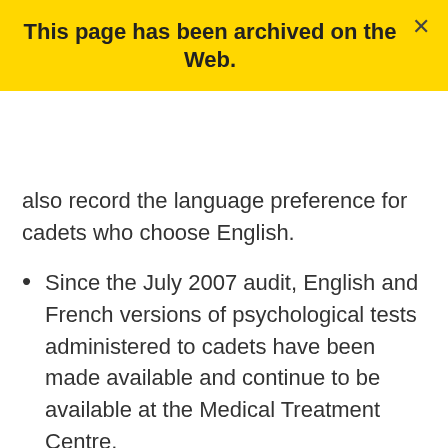This page has been archived on the Web.
also record the language preference for cadets who choose English.
Since the July 2007 audit, English and French versions of psychological tests administered to cadets have been made available and continue to be available at the Medical Treatment Centre.
An RCMP on-site audit report